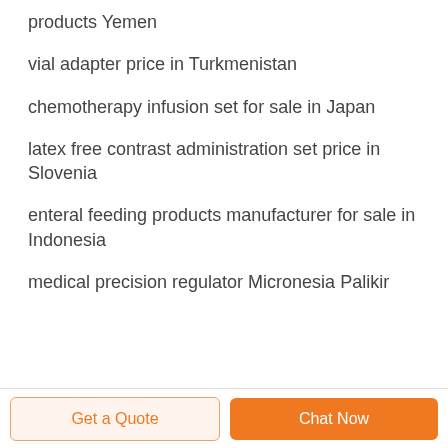products Yemen
vial adapter price in Turkmenistan
chemotherapy infusion set for sale in Japan
latex free contrast administration set price in Slovenia
enteral feeding products manufacturer for sale in Indonesia
medical precision regulator Micronesia Palikir
Get a Quote  Chat Now